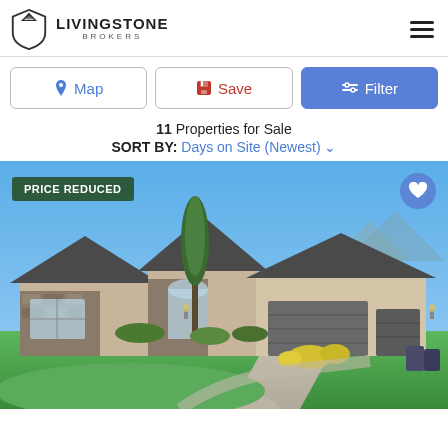[Figure (logo): Livingstone Brokers logo with shield icon]
Map | Save | Filter buttons
11 Properties for Sale
SORT BY: Days on Site (Newest)
[Figure (photo): Exterior photo of a large single-story home with attached garage, green lawn, stone facade, blue sky. Badge: PRICE REDUCED. Favorite heart button.]